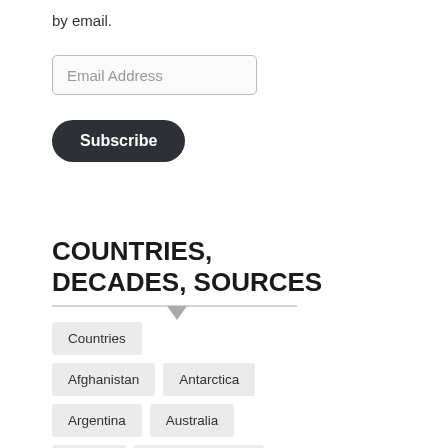by email.
Email Address
Subscribe
COUNTRIES, DECADES, SOURCES
Countries
Afghanistan
Antarctica
Argentina
Australia
Austria
Austria-Hungary